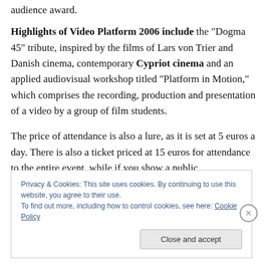audience award.
Highlights of Video Platform 2006 include the “Dogma 45” tribute, inspired by the films of Lars von Trier and Danish cinema, contemporary Cypriot cinema and an applied audiovisual workshop titled “Platform in Motion,” which comprises the recording, production and presentation of a video by a group of film students.
The price of attendance is also a lure, as it is set at 5 euros a day. There is also a ticket priced at 15 euros for attendance to the entire event, while if you show a public
Privacy & Cookies: This site uses cookies. By continuing to use this website, you agree to their use.
To find out more, including how to control cookies, see here: Cookie Policy
Close and accept